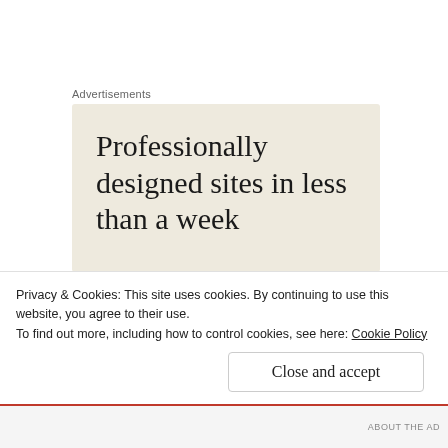Advertisements
[Figure (other): Advertisement banner with cream/beige background showing text: 'Professionally designed sites in less than a week' (partially visible)]
I have a dog sleeping in my bed right now. Tiny, white and cream colored, with long silk hair, and gentle eyes and a quiet demeanor. I rescued him yesterday. It seems like everyone was having babies...and I
Privacy & Cookies: This site uses cookies. By continuing to use this website, you agree to their use.
To find out more, including how to control cookies, see here: Cookie Policy
Close and accept
ABOUT THE AD